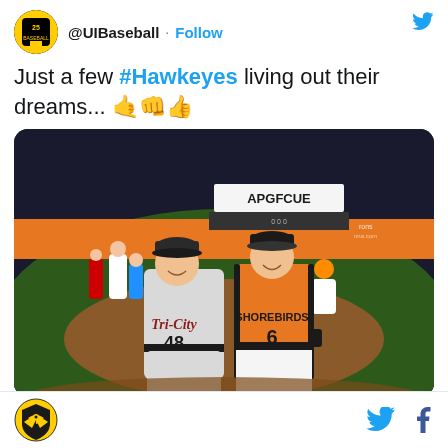[Figure (photo): Twitter/social media post header with @UIBaseball account avatar (Iowa Hawkeyes baseball logo, black and yellow), handle @UIBaseball, Follow button in blue, and Twitter bird icon top right]
Just a few #Hawkeyes living out their dreams... 🤙👊👍
[Figure (photo): Photo of two baseball players posing on a baseball field at night. Left player wears a grey Tri-City jersey number 48, right player wears an orange Shorebirds jersey number 6. Stadium signage visible in background including APGFCUE banner.]
[Figure (logo): Footer with Iowa Hawkeyes baseball logo (gold/black shield with hawk) on the left and Twitter bird and Facebook f icons on the right]